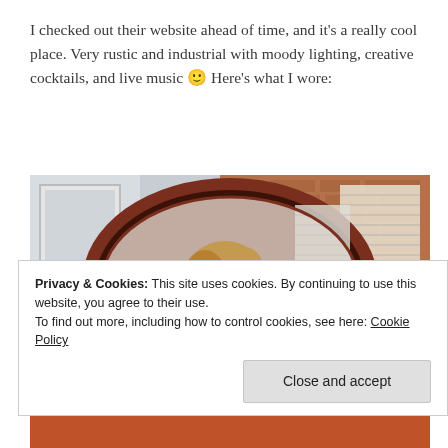I checked out their website ahead of time, and it's a really cool place. Very rustic and industrial with moody lighting, creative cocktails, and live music 🙂 Here's what I wore:
[Figure (photo): A woman taking a mirror selfie in an oval dark-red wooden-framed mirror. The reflection shows brick walls, wooden shutters, and a window in the background.]
Privacy & Cookies: This site uses cookies. By continuing to use this website, you agree to their use.
To find out more, including how to control cookies, see here: Cookie Policy
Close and accept